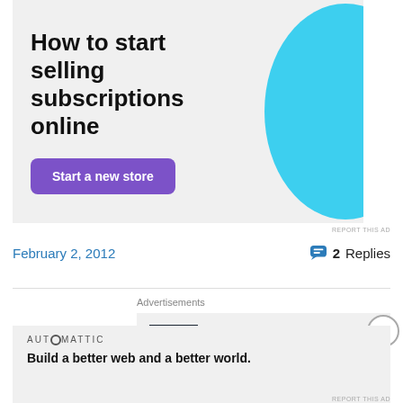[Figure (infographic): Advertisement banner: 'How to start selling subscriptions online' with a purple 'Start a new store' button and a cyan/blue graphic blob shape on the right.]
REPORT THIS AD
February 2, 2012
2 Replies
Advertisements
[Figure (logo): P2 logo: dark square with white H-shaped icon and 'P2' text in dark color.]
Advertisements
[Figure (infographic): Automattic advertisement: 'Build a better web and a better world.' with Automattic logo text.]